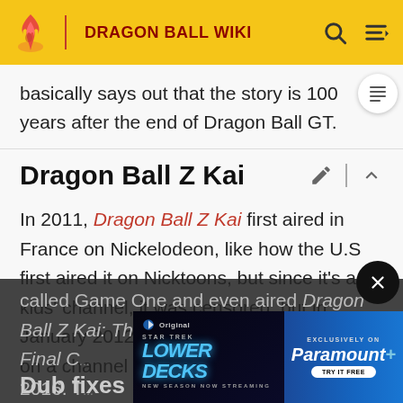DRAGON BALL WIKI
basically says out that the story is 100 years after the end of Dragon Ball GT.
Dragon Ball Z Kai
In 2011, Dragon Ball Z Kai first aired in France on Nickelodeon, like how the U.S first aired it on Nicktoons, but since it's a kids' channel, it was censored, but in January 2012, the uncensored dub aired on a channel called Game One and even aired Dragon Ball Z Kai: The Final Chapter... ry 3, 2016. T... is dub airing a...
[Figure (screenshot): Advertisement banner for Star Trek: Lower Decks - New Season Now Streaming, Exclusively on Paramount+, Try It Free]
Dub fixes